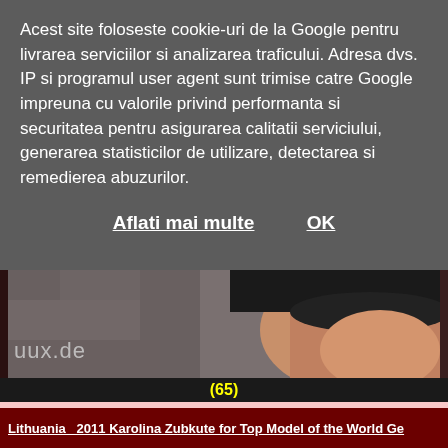Acest site foloseste cookie-uri de la Google pentru livrarea serviciilor si analizarea traficului. Adresa dvs. IP si programul user agent sunt trimise catre Google impreuna cu valorile privind performanta si securitatea pentru asigurarea calitatii serviciului, generarea statisticilor de utilizare, detectarea si remedierea abuzurilor.
Aflati mai multe   OK
[Figure (photo): Close-up photograph showing part of a person's upper leg/thigh area wearing a black frilled garment, with watermark text 'uux.de' in grey at the bottom left. Background is grey/stone-like texture.]
(65)
Lithuania  2011 Karolina Zubkute for Top Model of the World Ge